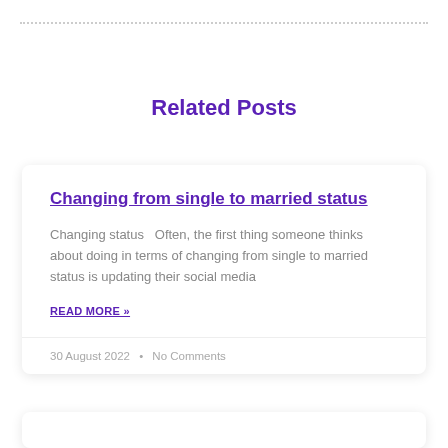Related Posts
Changing from single to married status
Changing status   Often, the first thing someone thinks about doing in terms of changing from single to married status is updating their social media
READ MORE »
30 August 2022  •  No Comments